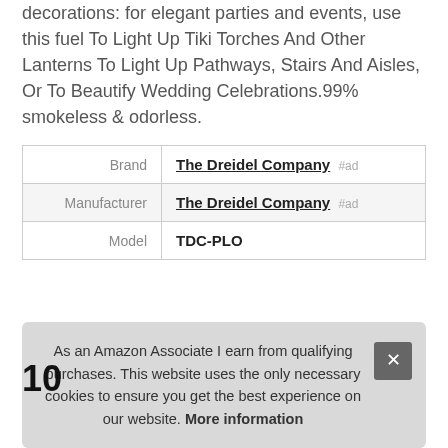decorations: for elegant parties and events, use this fuel To Light Up Tiki Torches And Other Lanterns To Light Up Pathways, Stairs And Aisles, Or To Beautify Wedding Celebrations.99% smokeless & odorless.
|  |  |
| --- | --- |
| Brand | The Dreidel Company #ad |
| Manufacturer | The Dreidel Company #ad |
| Model | TDC-PLO |
More information #ad
As an Amazon Associate I earn from qualifying purchases. This website uses the only necessary cookies to ensure you get the best experience on our website. More information